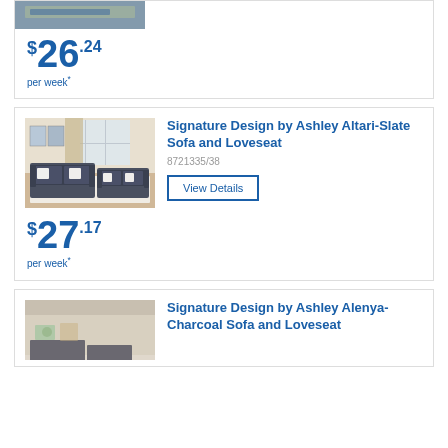[Figure (photo): Partial product image showing a rug/floor area at top]
$26.24 per week*
Signature Design by Ashley Altari-Slate Sofa and Loveseat
8721335/38
View Details
[Figure (photo): Photo of dark slate sofa and loveseat set in a room setting]
$27.17 per week*
Signature Design by Ashley Alenya-Charcoal Sofa and Loveseat
[Figure (photo): Partial photo of Alenya-Charcoal sofa product at bottom]